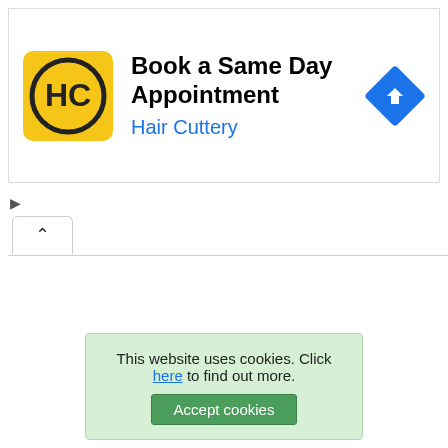[Figure (screenshot): Hair Cuttery advertisement banner with yellow logo, title 'Book a Same Day Appointment', subtitle 'Hair Cuttery' in blue, and a blue diamond navigation icon on the right.]
▷
×
[Figure (screenshot): Browser tab bar showing an active tab with an up-chevron (^) symbol.]
This website uses cookies. Click here to find out more. Accept cookies